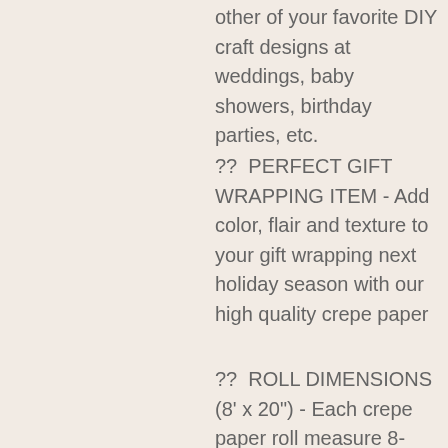other of your favorite DIY craft designs at weddings, baby showers, birthday parties, etc.
??  PERFECT GIFT WRAPPING ITEM - Add color, flair and texture to your gift wrapping next holiday season with our high quality crepe paper
??  ROLL DIMENSIONS (8' x 20") - Each crepe paper roll measure 8-feet in length and 20-inches in width
??  OUR QUALITY:
-  Genuine Italian Crepe Paper
-  Weight 180